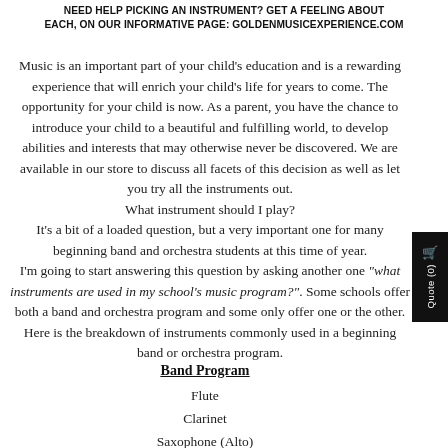NEED HELP PICKING AN INSTRUMENT? GET A FEELING ABOUT EACH, ON OUR INFORMATIVE PAGE: GOLDENMUSICEXPERIENCE.COM
Music is an important part of your child's education and is a rewarding experience that will enrich your child's life for years to come. The opportunity for your child is now. As a parent, you have the chance to introduce your child to a beautiful and fulfilling world, to develop abilities and interests that may otherwise never be discovered. We are available in our store to discuss all facets of this decision as well as let you try all the instruments out. What instrument should I play? It's a bit of a loaded question, but a very important one for many beginning band and orchestra students at this time of year. I'm going to start answering this question by asking another one "what instruments are used in my school's music program?". Some schools offer both a band and orchestra program and some only offer one or the other. Here is the breakdown of instruments commonly used in a beginning band or orchestra program.
Band Program
Flute
Clarinet
Saxophone (Alto)